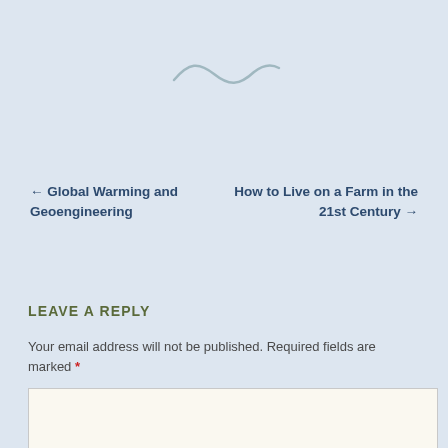[Figure (illustration): Decorative tilde/wave divider icon in muted teal/gray color]
← Global Warming and Geoengineering
How to Live on a Farm in the 21st Century →
LEAVE A REPLY
Your email address will not be published. Required fields are marked *